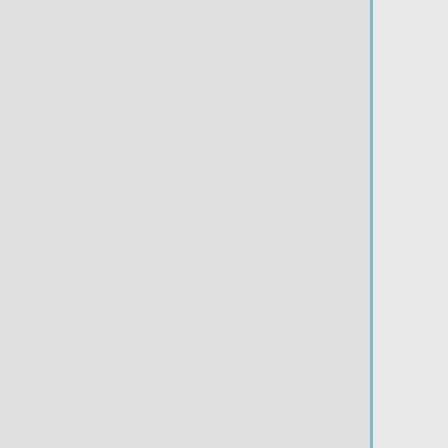| I
|- valign=top
|- valign=top
|
[http://www.mathjobs.org/jobs/Drexel/1280 Drexel U]*
|
[http://www.mathjobs.org/jobs/Drexel/1280 Drexel U]*
| various (p)
| various (p)
| Dec 1
| Dec 1
|
[http://euclid.colorado.edu/~sinclaic/index.html
"Christopher Sinclair"],
[http://www.unc.edu/~xfyang/
Xiaofeng Yang]
|'"[http://www.dam.brown.edu/people/bdong/index.html Bo Dong]"',
<s>"[http://euclid.colorado.edu/~sinclaic/index.html Christopher Sinclair]"</s>,
[http://www.unc.edu/~xfyang/
Xiaofeng Yang]